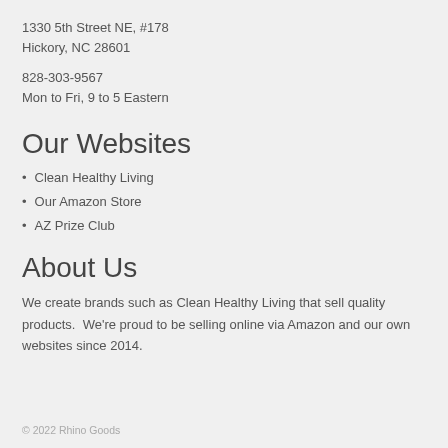1330 5th Street NE, #178
Hickory, NC 28601
828-303-9567
Mon to Fri, 9 to 5 Eastern
Our Websites
Clean Healthy Living
Our Amazon Store
AZ Prize Club
About Us
We create brands such as Clean Healthy Living that sell quality products.  We're proud to be selling online via Amazon and our own websites since 2014.
© 2022 Rhino Goods